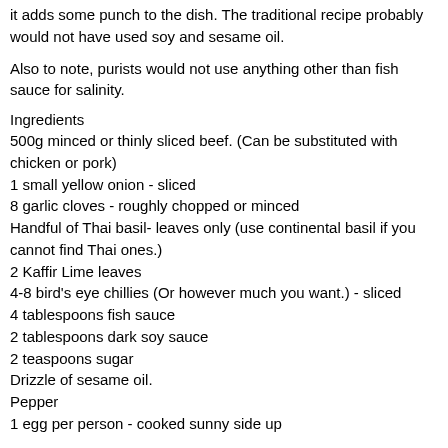it adds some punch to the dish. The traditional recipe probably would not have used soy and sesame oil.
Also to note, purists would not use anything other than fish sauce for salinity.
Ingredients
500g minced or thinly sliced beef. (Can be substituted with chicken or pork)
1 small yellow onion - sliced
8 garlic cloves - roughly chopped or minced
Handful of Thai basil- leaves only (use continental basil if you cannot find Thai ones.)
2 Kaffir Lime leaves
4-8 bird's eye chillies (Or however much you want.) - sliced
4 tablespoons fish sauce
2 tablespoons dark soy sauce
2 teaspoons sugar
Drizzle of sesame oil.
Pepper
1 egg per person - cooked sunny side up